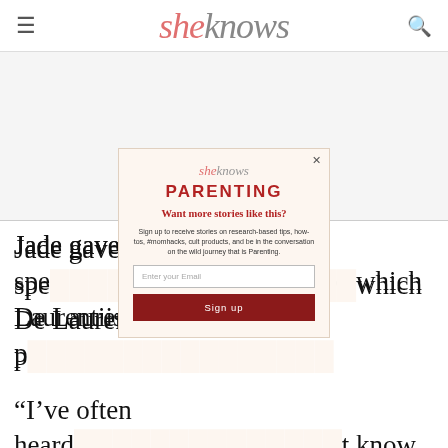sheknows
Jade gave a spe... which De Laurentiis also p...
“I’ve often heard... know what you’ve got until it’s gone,’’’ Jade said in the video. “Probably even more so because of the pandemic. Well, I don’t think that’s accurate. Not for me, and I’m
[Figure (screenshot): SheKnows newsletter signup modal popup with PARENTING section header, headline 'Want more stories like this?', body text about signing up, email input field, and Sign up button]